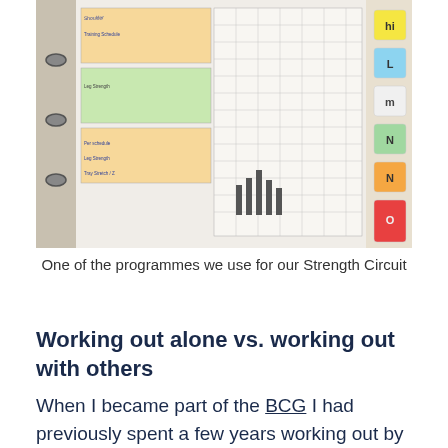[Figure (photo): A binder open to hand-filled workout programme tracking sheets with coloured tabs (yellow, green, blue, red, orange) on the right side. The sheets contain grids with handwritten notes and numbers. The binder rings are visible on the left.]
One of the programmes we use for our Strength Circuit
Working out alone vs. working out with others
When I became part of the BCG I had previously spent a few years working out by myself in commercial gyms. I'm not